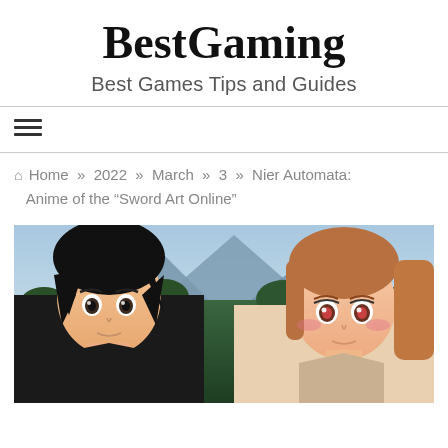BestGaming
Best Games Tips and Guides
≡ (navigation menu)
🏠 Home » 2022 » March » 3 » Nier Automata: Anime of the “Sword Art Online”
[Figure (illustration): Two anime characters side by side: on the left a dark-haired boy wearing black, on the right a brown-haired girl in lighter clothing, with a mountain and forest landscape in the background. From Sword Art Online.]